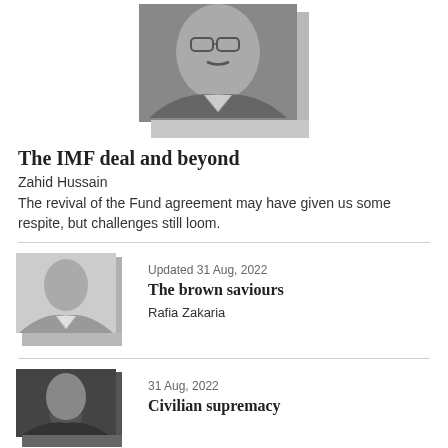[Figure (photo): Black and white portrait photo of a middle-aged man with glasses and a mustache, wearing a suit]
The IMF deal and beyond
Zahid Hussain
The revival of the Fund agreement may have given us some respite, but challenges still loom.
[Figure (photo): Black and white portrait photo of a woman]
Updated 31 Aug, 2022
The brown saviours
Rafia Zakaria
[Figure (photo): Black and white portrait photo of a bearded man]
31 Aug, 2022
Civilian supremacy